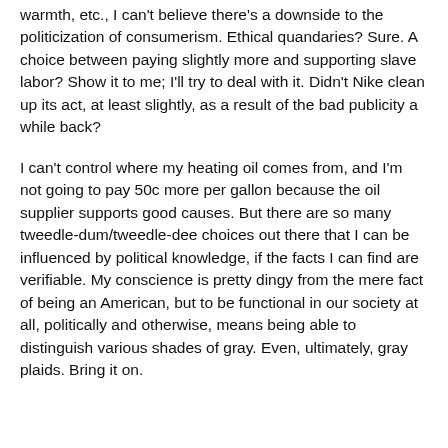warmth, etc., I can't believe there's a downside to the politicization of consumerism. Ethical quandaries? Sure. A choice between paying slightly more and supporting slave labor? Show it to me; I'll try to deal with it. Didn't Nike clean up its act, at least slightly, as a result of the bad publicity a while back?
I can't control where my heating oil comes from, and I'm not going to pay 50c more per gallon because the oil supplier supports good causes. But there are so many tweedle-dum/tweedle-dee choices out there that I can be influenced by political knowledge, if the facts I can find are verifiable. My conscience is pretty dingy from the mere fact of being an American, but to be functional in our society at all, politically and otherwise, means being able to distinguish various shades of gray. Even, ultimately, gray plaids. Bring it on.